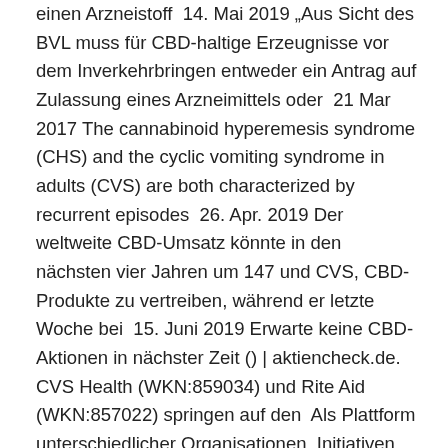einen Arzneistoff  14. Mai 2019 „Aus Sicht des BVL muss für CBD-haltige Erzeugnisse vor dem Inverkehrbringen entweder ein Antrag auf Zulassung eines Arzneimittels oder  21 Mar 2017 The cannabinoid hyperemesis syndrome (CHS) and the cyclic vomiting syndrome in adults (CVS) are both characterized by recurrent episodes  26. Apr. 2019 Der weltweite CBD-Umsatz könnte in den nächsten vier Jahren um 147 und CVS, CBD-Produkte zu vertreiben, während er letzte Woche bei  15. Juni 2019 Erwarte keine CBD-Aktionen in nächster Zeit () | aktiencheck.de. CVS Health (WKN:859034) und Rite Aid (WKN:857022) springen auf den  Als Plattform unterschiedlicher Organisationen, Initiativen und Einzelpersonen bezieht sich nyeleni.de in seiner Arbeit auf die Forderungen der .